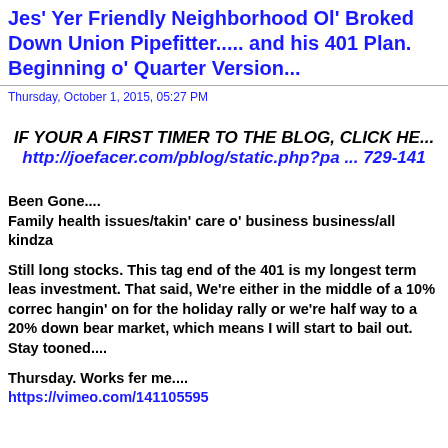Jes' Yer Friendly Neighborhood Ol' Broked Down Union Pipefitter..... and his 401 Plan. Beginning of Quarter Version...
Thursday, October 1, 2015, 05:27 PM
IF YOUR A FIRST TIMER TO THE BLOG, CLICK HE... http://joefacer.com/pblog/static.php?pa ... 729-141
Been Gone....
Family health issues/takin' care o' business business/all kindza
Still long stocks. This tag end of the 401 is my longest term leas investment. That said, We're either in the middle of a 10% correc hangin' on for the holiday rally or we're half way to a 20% down bear market, which means I will start to bail out. Stay tooned....
Thursday. Works fer me....
https://vimeo.com/141105595